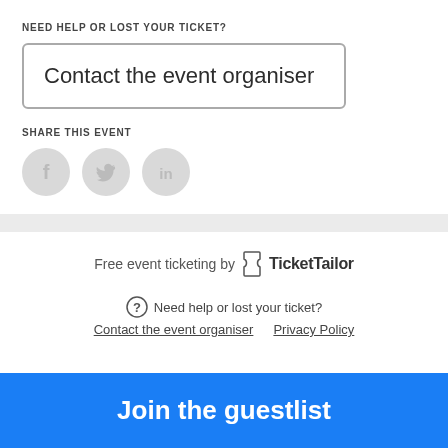NEED HELP OR LOST YOUR TICKET?
Contact the event organiser
SHARE THIS EVENT
[Figure (illustration): Three social media icons (Facebook, Twitter, LinkedIn) as grey circles]
Free event ticketing by TicketTailor
⓪ Need help or lost your ticket?
Contact the event organiser   Privacy Policy
Join the guestlist